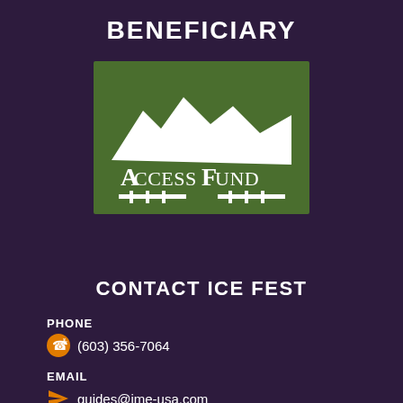BENEFICIARY
[Figure (logo): Access Fund logo — green rectangle background with white mountain silhouette and fence graphic, text reads AccessFund]
CONTACT ICE FEST
PHONE
(603) 356-7064
EMAIL
guides@ime-usa.com